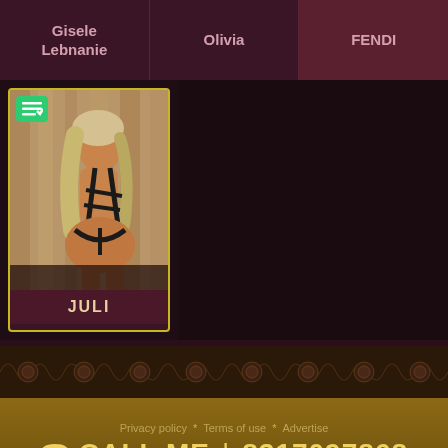Gisele Lebnanie
Olivia
FENDI
[Figure (photo): Photo card of a woman with long blonde hair wearing black straps, shown from behind. Card is outlined in yellow and labeled JULI.]
JULI
Privacy policy * Terms of use * Advertise
☎ CALL ME | 8317097868